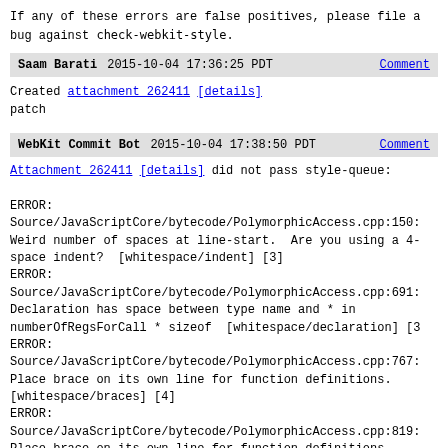If any of these errors are false positives, please file a bug against check-webkit-style.
Saam Barati   2015-10-04 17:36:25 PDT   Comment
Created attachment 262411 [details]
patch
WebKit Commit Bot   2015-10-04 17:38:50 PDT   Comment
Attachment 262411 [details] did not pass style-queue:

ERROR:
Source/JavaScriptCore/bytecode/PolymorphicAccess.cpp:150:
Weird number of spaces at line-start.  Are you using a 4-space indent?  [whitespace/indent] [3]
ERROR:
Source/JavaScriptCore/bytecode/PolymorphicAccess.cpp:691:
Declaration has space between type name and * in numberOfRegsForCall * sizeof  [whitespace/declaration] [3
ERROR:
Source/JavaScriptCore/bytecode/PolymorphicAccess.cpp:767:
Place brace on its own line for function definitions. [whitespace/braces] [4]
ERROR:
Source/JavaScriptCore/bytecode/PolymorphicAccess.cpp:819:
Place brace on its own line for function definitions.